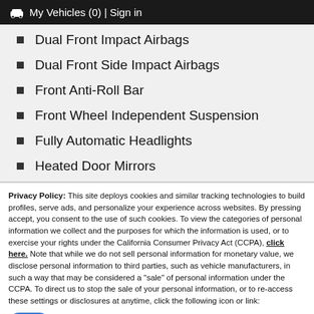🚗 My Vehicles (0) | Sign in
Dual Front Impact Airbags
Dual Front Side Impact Airbags
Front Anti-Roll Bar
Front Wheel Independent Suspension
Fully Automatic Headlights
Heated Door Mirrors
Privacy Policy: This site deploys cookies and similar tracking technologies to build profiles, serve ads, and personalize your experience across websites. By pressing accept, you consent to the use of such cookies. To view the categories of personal information we collect and the purposes for which the information is used, or to exercise your rights under the California Consumer Privacy Act (CCPA), click here. Note that while we do not sell personal information for monetary value, we disclose personal information to third parties, such as vehicle manufacturers, in such a way that may be considered a "sale" of personal information under the CCPA. To direct us to stop the sale of your personal information, or to re-access these settings or disclosures at anytime, click the following icon or link:
Do Not Sell My Personal Information
Language: English ∨   Powered by ComplyAuto
Accept and Continue →   California Privacy Disclosures